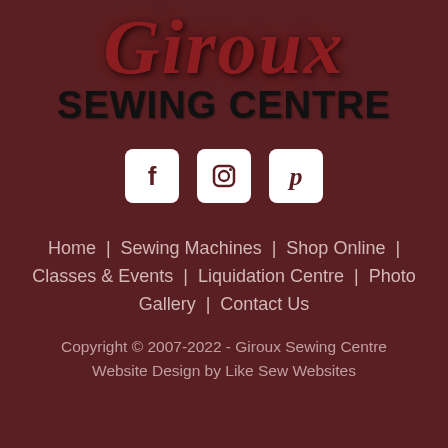Giroux SEWING CENTRE
[Figure (logo): Three social media icons in white rounded squares: Facebook, Instagram, Pinterest]
Home | Sewing Machines | Shop Online | Classes & Events | Liquidation Centre | Photo Gallery | Contact Us
Copyright © 2007-2022 - Giroux Sewing Centre Website Design by Like Sew Websites